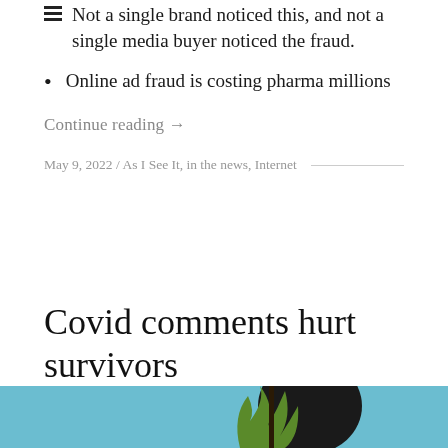Not a single brand noticed this, and not a single media buyer noticed the fraud.
Online ad fraud is costing pharma millions
Continue reading →
May 9, 2022 / As I See It, in the news, Internet
Covid comments hurt survivors
[Figure (illustration): Partial illustration showing a stylized figure with green and black elements on a light blue background]